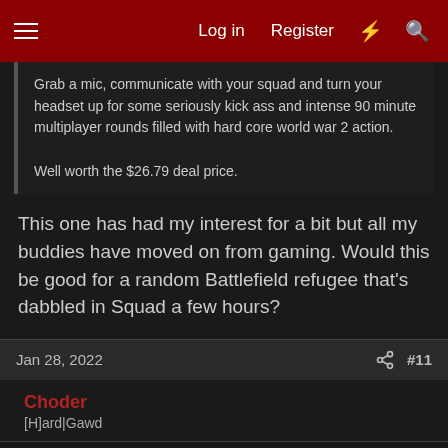Log in  Register
Grab a mic, communicate with your squad and turn your headset up for some seriously kick ass and intense 90 minute multiplayer rounds filled with hard core world war 2 action.

Well worth the $26.79 deal price.
This one has had my interest for a bit but all my buddies have moved on from gaming. Would this be good for a random Battlefield refugee that's dabbled in Squad a few hours?
Jan 28, 2022   #11
Choder
[H]ard|Gawd
ThatITGuy said:
Stardew or Terreria?
Also i hate buying those as by the time i get to them in my